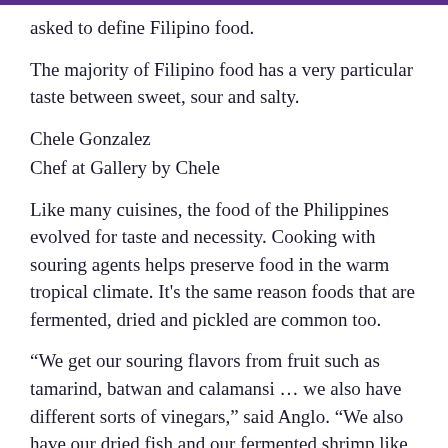asked to define Filipino food.
The majority of Filipino food has a very particular taste between sweet, sour and salty.
Chele Gonzalez
Chef at Gallery by Chele
Like many cuisines, the food of the Philippines evolved for taste and necessity. Cooking with souring agents helps preserve food in the warm tropical climate. It's the same reason foods that are fermented, dried and pickled are common too.
“We get our souring flavors from fruit such as tamarind, batwan and calamansi … we also have different sorts of vinegars,” said Anglo. “We also have our dried fish and our fermented shrimp like bagoong or ginamos, which